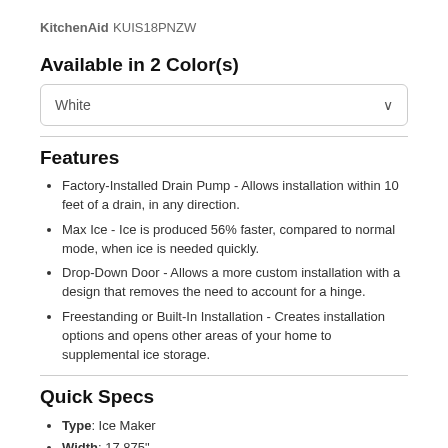KitchenAid KUIS18PNZW
Available in 2 Color(s)
White
Features
Factory-Installed Drain Pump - Allows installation within 10 feet of a drain, in any direction.
Max Ice - Ice is produced 56% faster, compared to normal mode, when ice is needed quickly.
Drop-Down Door - Allows a more custom installation with a design that removes the need to account for a hinge.
Freestanding or Built-In Installation - Creates installation options and opens other areas of your home to supplemental ice storage.
Quick Specs
Type: Ice Maker
Width: 17.875"
Height: 34.375"
Depth: 25.625"